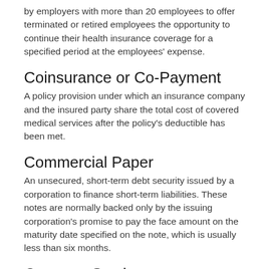by employers with more than 20 employees to offer terminated or retired employees the opportunity to continue their health insurance coverage for a specified period at the employees' expense.
Coinsurance or Co-Payment
A policy provision under which an insurance company and the insured party share the total cost of covered medical services after the policy's deductible has been met.
Commercial Paper
An unsecured, short-term debt security issued by a corporation to finance short-term liabilities. These notes are normally backed only by the issuing corporation's promise to pay the face amount on the maturity date specified on the note, which is usually less than six months.
Common Stock